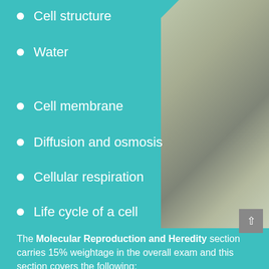Cell structure
Water
Cell membrane
Diffusion and osmosis
Cellular respiration
Life cycle of a cell
The Molecular Reproduction and Heredity section carries 15% weightage in the overall exam and this section covers the following:
Basics